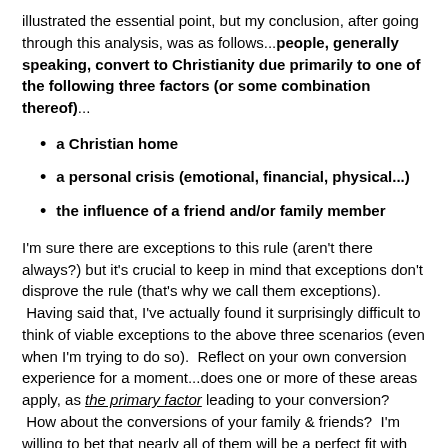illustrated the essential point, but my conclusion, after going through this analysis, was as follows...people, generally speaking, convert to Christianity due primarily to one of the following three factors (or some combination thereof)...
a Christian home
a personal crisis (emotional, financial, physical...)
the influence of a friend and/or family member
I'm sure there are exceptions to this rule (aren't there always?) but it's crucial to keep in mind that exceptions don't disprove the rule (that's why we call them exceptions). Having said that, I've actually found it surprisingly difficult to think of viable exceptions to the above three scenarios (even when I'm trying to do so). Reflect on your own conversion experience for a moment...does one or more of these areas apply, as the primary factor leading to your conversion? How about the conversions of your family & friends? I'm willing to bet that nearly all of them will be a perfect fit with